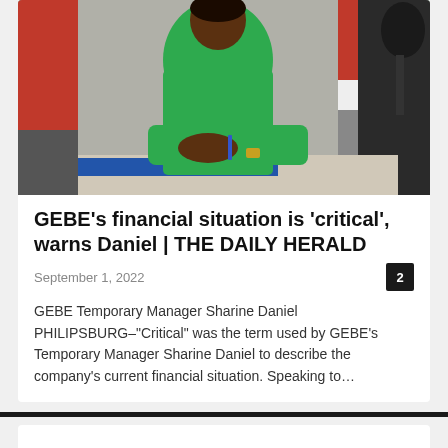[Figure (photo): A woman in a green outfit sitting at a table with a microphone, in what appears to be a radio studio with red and grey background panels.]
GEBE's financial situation is 'critical', warns Daniel | THE DAILY HERALD
September 1, 2022
GEBE Temporary Manager Sharine Daniel PHILIPSBURG–"Critical" was the term used by GEBE's Temporary Manager Sharine Daniel to describe the company's current financial situation. Speaking to…